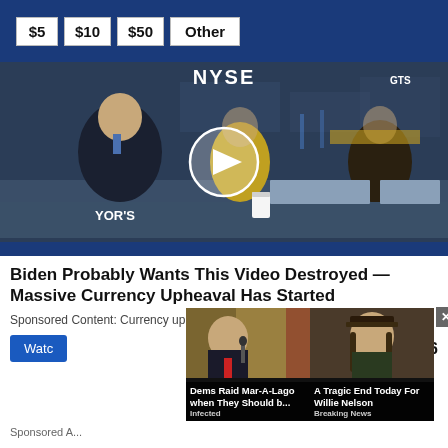| $5 | $10 | $50 | Other |
[Figure (screenshot): Video thumbnail showing NYSE trading floor with three people seated at a desk. A play button circle is overlaid in the center. 'NYSE' text visible at top, 'GTS' at upper right, 'YOR's' text at bottom left. Blue bar at bottom of video frame.]
Biden Probably Wants This Video Destroyed — Massive Currency Upheaval Has Started
Sponsored Content: Currency upheavals happen about every 40 years an... st...
Watc... 19,556
[Figure (screenshot): Overlay ad: Image of Trump at a podium. Headline: 'Dems Raid Mar-A-Lago when They Should b...' Source: Infected]
[Figure (screenshot): Overlay ad: Image of Willie Nelson. Headline: 'A Tragic End Today For Willie Nelson' Source: Breaking News. Close (X) button at top right.]
Sponsored A...